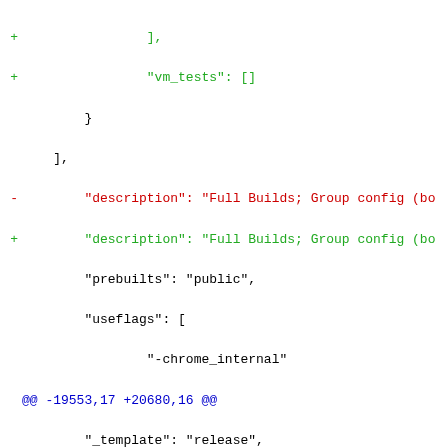Code diff showing git changes to a configuration file with additions (+) in green and deletions (-) in red, including vm_tests, description, prebuilts, useflags, boards (veyron_mickey replaced by veyron_shark), and child_configs sections.